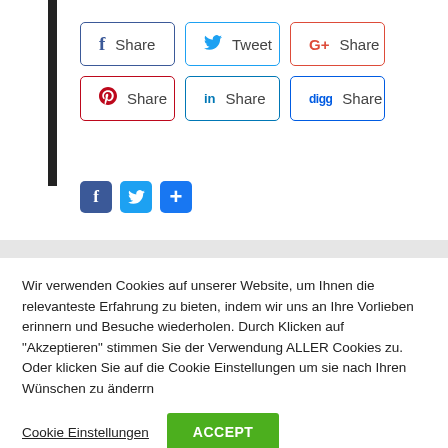[Figure (screenshot): Social media share buttons grid: Facebook Share, Twitter Tweet, Google+ Share (row 1); Pinterest Share, LinkedIn Share, Digg Share (row 2); followed by small Facebook, Twitter, and plus icon buttons.]
Wir verwenden Cookies auf unserer Website, um Ihnen die relevanteste Erfahrung zu bieten, indem wir uns an Ihre Vorlieben erinnern und Besuche wiederholen. Durch Klicken auf "Akzeptieren" stimmen Sie der Verwendung ALLER Cookies zu. Oder klicken Sie auf die Cookie Einstellungen um sie nach Ihren Wünschen zu änderrn
Cookie Einstellungen   ACCEPT